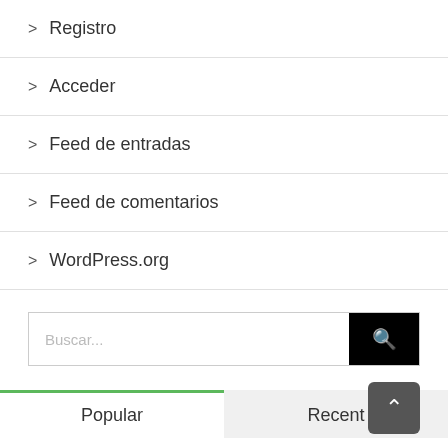> Registro
> Acceder
> Feed de entradas
> Feed de comentarios
> WordPress.org
Buscar...
Popular
Recent